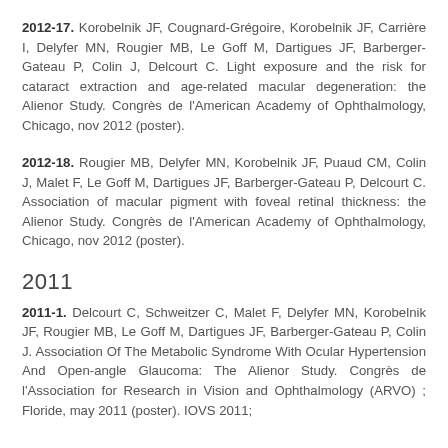2012-17. Korobelnik JF, Cougnard-Grégoire, Korobelnik JF, Carrière I, Delyfer MN, Rougier MB, Le Goff M, Dartigues JF, Barberger-Gateau P, Colin J, Delcourt C. Light exposure and the risk for cataract extraction and age-related macular degeneration: the Alienor Study. Congrès de l'American Academy of Ophthalmology, Chicago, nov 2012 (poster).
2012-18. Rougier MB, Delyfer MN, Korobelnik JF, Puaud CM, Colin J, Malet F, Le Goff M, Dartigues JF, Barberger-Gateau P, Delcourt C. Association of macular pigment with foveal retinal thickness: the Alienor Study. Congrès de l'American Academy of Ophthalmology, Chicago, nov 2012 (poster).
2011
2011-1. Delcourt C, Schweitzer C, Malet F, Delyfer MN, Korobelnik JF, Rougier MB, Le Goff M, Dartigues JF, Barberger-Gateau P, Colin J. Association Of The Metabolic Syndrome With Ocular Hypertension And Open-angle Glaucoma: The Alienor Study. Congrès de l'Association for Research in Vision and Ophthalmology (ARVO) ; Floride, may 2011 (poster). IOVS 2011;